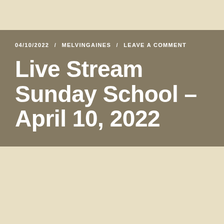04/10/2022 / MELVINGAINES / LEAVE A COMMENT
Live Stream Sunday School – April 10, 2022
03/11/2022 / MELVINGAINES / LEAVE A COMMENT